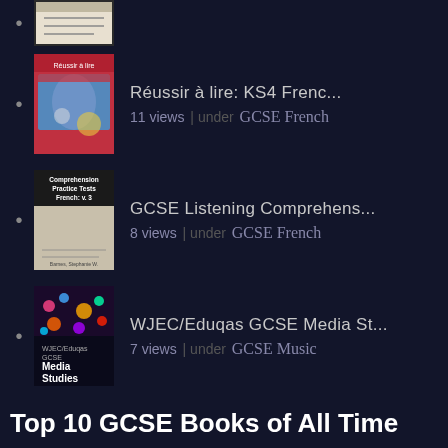Réussir à lire: KS4 Frenc... | 11 views | under GCSE French
GCSE Listening Comprehens... | 8 views | under GCSE French
WJEC/Eduqas GCSE Media St... | 7 views | under GCSE Music
Top 10 GCSE Books of All Time
GCSE Combined Science: AQ... | 270 views | under GCSE Combined Science